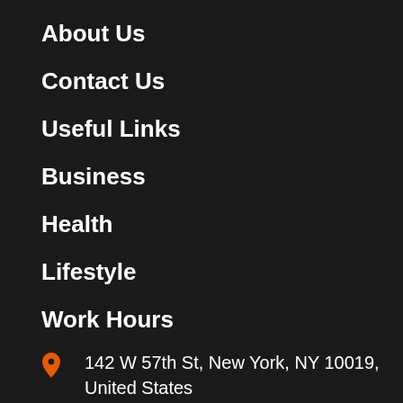About Us
Contact Us
Useful Links
Business
Health
Lifestyle
Work Hours
142 W 57th St, New York, NY 10019, United States
admin@hamsterbungalow.com
+16469607257